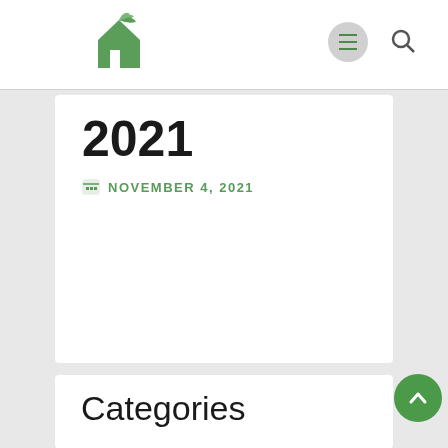Site navigation header with logo and menu/search icons
2021
NOVEMBER 4, 2021
Categories
Addiction
healthHealth & Care
Recovering
Rehabilitation
Treatments